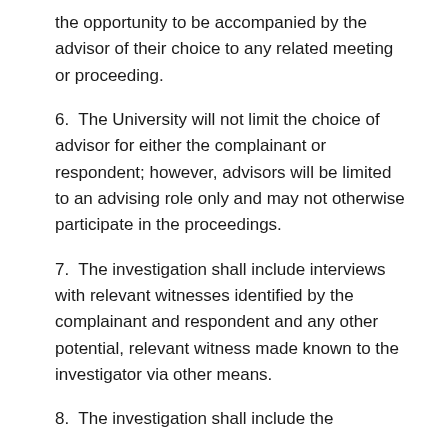the opportunity to be accompanied by the advisor of their choice to any related meeting or proceeding.
6.  The University will not limit the choice of advisor for either the complainant or respondent; however, advisors will be limited to an advising role only and may not otherwise participate in the proceedings.
7.  The investigation shall include interviews with relevant witnesses identified by the complainant and respondent and any other potential, relevant witness made known to the investigator via other means.
8.  The investigation shall include the